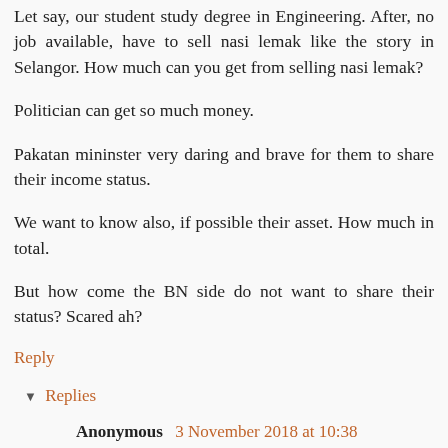Let say, our student study degree in Engineering. After, no job available, have to sell nasi lemak like the story in Selangor. How much can you get from selling nasi lemak?
Politician can get so much money.
Pakatan mininster very daring and brave for them to share their income status.
We want to know also, if possible their asset. How much in total.
But how come the BN side do not want to share their status? Scared ah?
Reply
Replies
Anonymous 3 November 2018 at 10:38
"But how come the BN side do not want to share their status? Scared ah?"